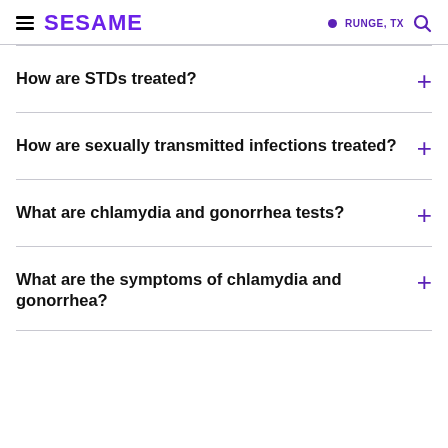SESAME | RUNGE, TX
How are STDs treated?
How are sexually transmitted infections treated?
What are chlamydia and gonorrhea tests?
What are the symptoms of chlamydia and gonorrhea?